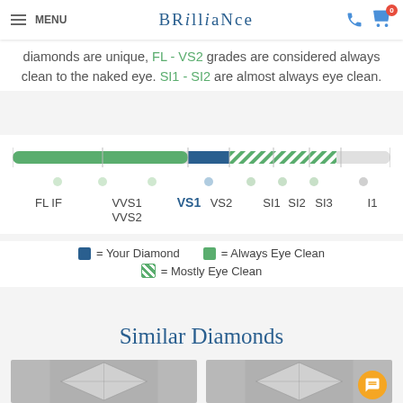MENU | BRILLIANCE | phone | cart (0)
diamonds are unique, FL - VS2 grades are considered always clean to the naked eye. SI1 - SI2 are almost always eye clean.
[Figure (infographic): Clarity scale bar showing FL IF, VVS1 VVS2, VS1 (highlighted in blue, current diamond), VS2, SI1, SI2, SI3, I1 grades. Green solid bar for Always Eye Clean, striped green/white bar for Mostly Eye Clean zones.]
■ = Your Diamond   ■ = Always Eye Clean
◨ = Mostly Eye Clean
Similar Diamonds
[Figure (photo): Two princess-cut diamond photos side by side]